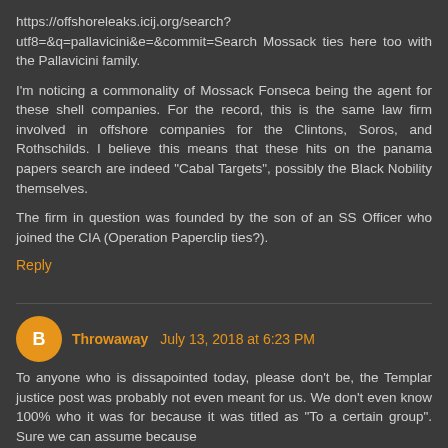https://offshoreleaks.icij.org/search?utf8=&q=pallavicini&e=&commit=Search Mossack ties here too with the Pallavicini family.
I'm noticing a commonality of Mossack Fonseca being the agent for these shell companies. For the record, this is the same law firm involved in offshore companies for the Clintons, Soros, and Rothschilds. I believe this means that these hits on the panama papers search are indeed "Cabal Targets", possibly the Black Nobility themselves.
The firm in question was founded by the son of an SS Officer who joined the CIA (Operation Paperclip ties?).
Reply
Throwaway July 13, 2018 at 6:23 PM
To anyone who is dissapointed today, please don't be, the Templar justice post was probably not even meant for us. We don't even know 100% who it was for because it was titled as "To a certain group". Sure we can assume because